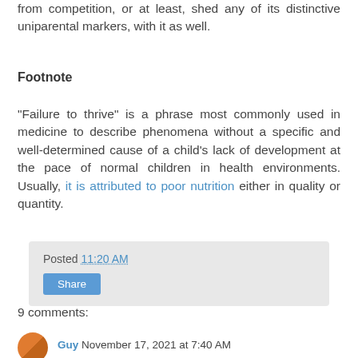from competition, or at least, shed any of its distinctive uniparental markers, with it as well.
Footnote
"Failure to thrive" is a phrase most commonly used in medicine to describe phenomena without a specific and well-determined cause of a child's lack of development at the pace of normal children in health environments. Usually, it is attributed to poor nutrition either in quality or quantity.
Posted 11:20 AM
9 comments:
Guy November 17, 2021 at 7:40 AM